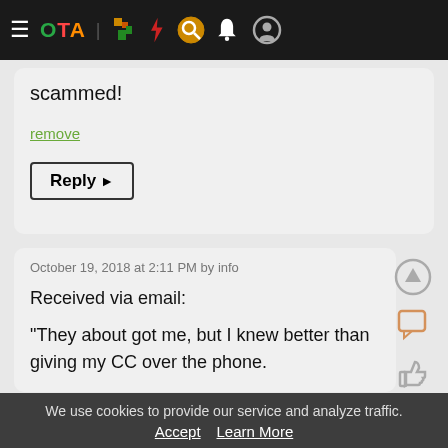Navigation bar with menu, OTA logo, and icons
scammed!
remove
Reply ▶
October 19, 2018 at 2:11 PM by info
Received via email:

"They about got me, but I knew better than giving my CC over the phone.

Here's the info of the lady that called me.
We use cookies to provide our service and analyze traffic. Accept   Learn More